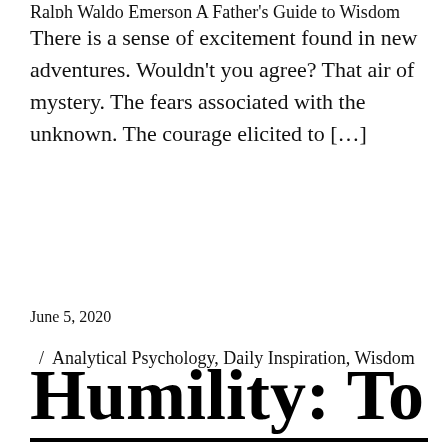Ralph Waldo Emerson A Father’s Guide to Wisdom
There is a sense of excitement found in new adventures. Wouldn’t you agree? That air of mystery. The fears associated with the unknown. The courage elicited to […]
June 5, 2020
/ Analytical Psychology, Daily Inspiration, Wisdom
Humility: To Believe